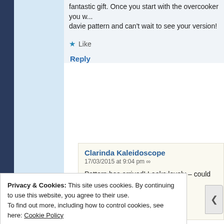fantastic gift. Once you start with the overcooker you w... davie pattern and can't wait to see your version!
★ Like
Reply
Clarinda Kaleidoscope
17/03/2015 at 9:04 pm ∞
Pattern has arrived! Looks lovely – could become a
★ Like
Reply
Privacy & Cookies: This site uses cookies. By continuing to use this website, you agree to their use.
To find out more, including how to control cookies, see here: Cookie Policy
Close and accept